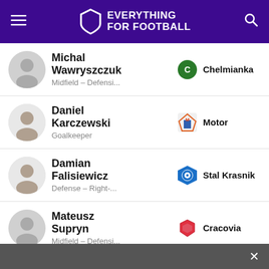Everything for Football
Michal Wawryszczuk – Midfield – Defensi... – Chelmianka
Daniel Karczewski – Goalkeeper – Motor
Damian Falisiewicz – Defense – Right-... – Stal Krasnik
Mateusz Supryn – Midfield – Defensi... – Cracovia
Damian Szpak – Avia Swidnik